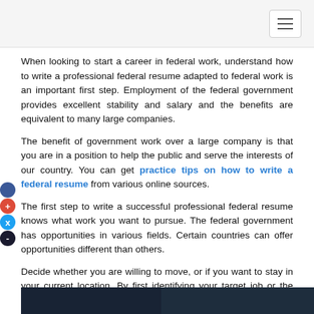When looking to start a career in federal work, understand how to write a professional federal resume adapted to federal work is an important first step. Employment of the federal government provides excellent stability and salary and the benefits are equivalent to many large companies.
The benefit of government work over a large company is that you are in a position to help the public and serve the interests of our country. You can get practice tips on how to write a federal resume from various online sources.
The first step to write a successful professional federal resume knows what work you want to pursue. The federal government has opportunities in various fields. Certain countries can offer opportunities different than others.
Decide whether you are willing to move, or if you want to stay in your current location. By first identifying your target job or the desired geographical area, you can adjust your resume to meet the position requirements.
[Figure (photo): A dark blue photo strip at the bottom of the page]